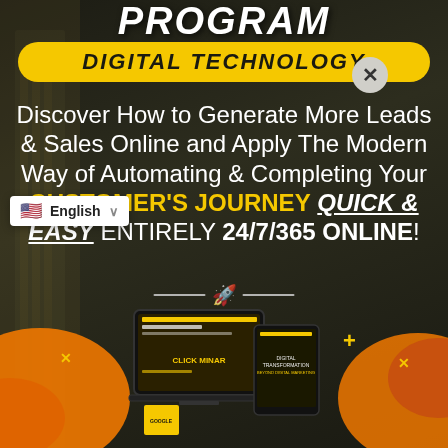PROGRAM
DIGITAL TECHNOLOGY
Discover How to Generate More Leads & Sales Online and Apply The Modern Way of Automating & Completing Your CUSTOMER'S JOURNEY QUICK & EASY ENTIRELY 24/7/365 ONLINE!
[Figure (screenshot): Language selector widget showing English with US flag]
[Figure (illustration): Rocket emoji divider with lines on both sides]
[Figure (illustration): Bottom section with orange decorative blobs, plus signs, computer/tablet/phone mockups showing ClickMinar and digital marketing course branding]